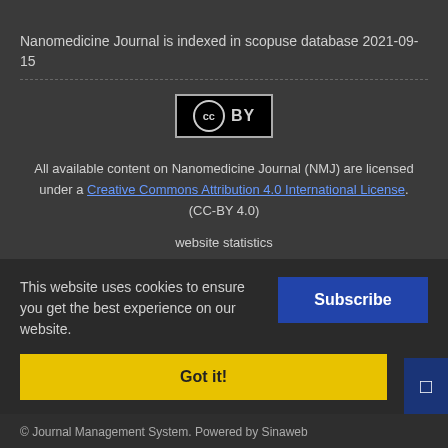Nanomedicine Journal is indexed in scopuse database 2021-09-15
[Figure (logo): Creative Commons CC BY license badge — black rectangle with CC circle icon and BY text]
All available content on Nanomedicine Journal (NMJ) are licensed under a Creative Commons Attribution 4.0 International License. (CC-BY 4.0)
website statistics
[Figure (other): Small broken image icon followed by a blue hyperlink text (website statistics link)]
Newsletter Subscription
Subscribe to the journal newsletter and receive the latest
This website uses cookies to ensure you get the best experience on our website.
Got it!
© Journal Management System. Powered by Sinaweb